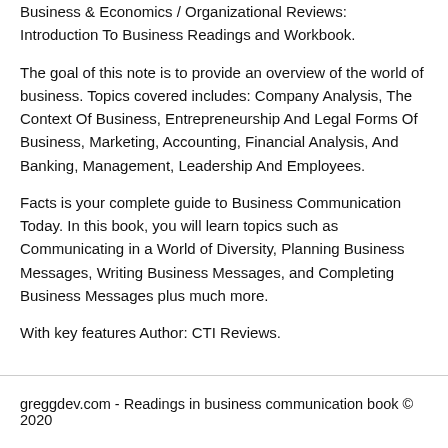Business & Economics / Organizational Reviews: Introduction To Business Readings and Workbook.
The goal of this note is to provide an overview of the world of business. Topics covered includes: Company Analysis, The Context Of Business, Entrepreneurship And Legal Forms Of Business, Marketing, Accounting, Financial Analysis, And Banking, Management, Leadership And Employees.
Facts is your complete guide to Business Communication Today. In this book, you will learn topics such as Communicating in a World of Diversity, Planning Business Messages, Writing Business Messages, and Completing Business Messages plus much more.
With key features Author: CTI Reviews.
greggdev.com - Readings in business communication book © 2020